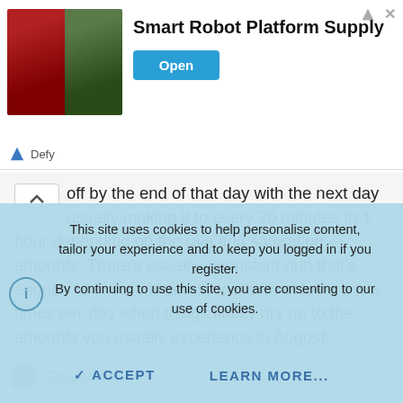[Figure (screenshot): Advertisement banner for Smart Robot Platform Supply by Defy with photos of robots and an Open button]
off by the end of that day with the next day usually making it to every 30 minutes to 1 hour depending on the rain and saturation amounts. There's usually a constant drip that's enough to ensure it usually kicks on at least a few times per-day when things finally dry up to the amounts you usually experience in August.
Grizzerbear
This site uses cookies to help personalise content, tailor your experience and to keep you logged in if you register.
By continuing to use this site, you are consenting to our use of cookies.
ACCEPT   LEARN MORE...